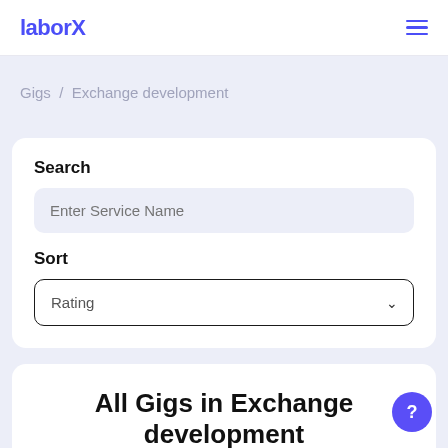laborX
Gigs / Exchange development
Search
Enter Service Name
Sort
Rating
All Gigs in Exchange development